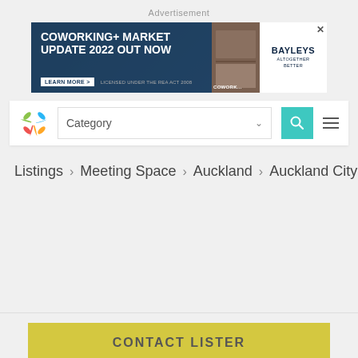Advertisement
[Figure (screenshot): Banner advertisement for Bayleys real estate: 'Coworking+ Market Update 2022 Out Now - Learn More > Licensed under the REA Act 2008' with Bayleys 'Altogether Better' logo]
[Figure (screenshot): Website navigation bar with colorful pinwheel logo, Category dropdown search bar with teal search button, and hamburger menu icon]
Listings > Meeting Space > Auckland > Auckland City
[Figure (screenshot): Yellow CONTACT LISTER button at bottom of page]